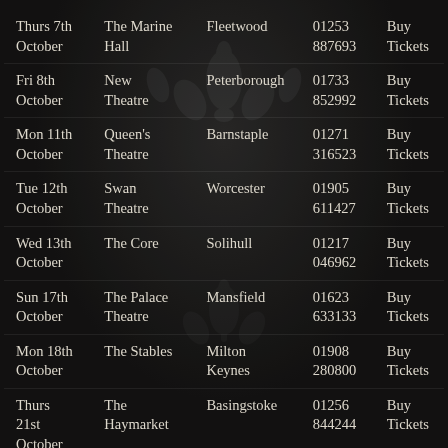| Date | Venue | Location | Phone | Action |
| --- | --- | --- | --- | --- |
| Thurs 7th October | The Marine Hall | Fleetwood | 01253 887693 | Buy Tickets |
| Fri 8th October | New Theatre | Peterborough | 01733 852992 | Buy Tickets |
| Mon 11th October | Queen's Theatre | Barnstaple | 01271 316523 | Buy Tickets |
| Tue 12th October | Swan Theatre | Worcester | 01905 611427 | Buy Tickets |
| Wed 13th October | The Core | Solihull | 01217 046962 | Buy Tickets |
| Sun 17th October | The Palace Theatre | Mansfield | 01623 633133 | Buy Tickets |
| Mon 18th October | The Stables | Milton Keynes | 01908 280800 | Buy Tickets |
| Thurs 21st October | The Haymarket | Basingstoke | 01256 844244 | Buy Tickets |